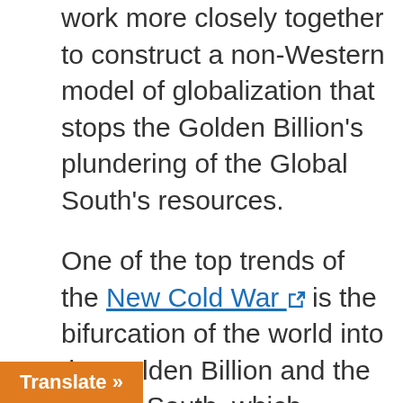work more closely together to construct a non-Western model of globalization that stops the Golden Billion's plundering of the Global South's resources.
One of the top trends of the New Cold War [link] is the bifurcation of the world into the Golden Billion and the Global South, which President Putin regards [link] as colonies and sovereign states respectively. Duma Speaker Volodin also noticed this too, which he [Translate button] upon in a recent Telegram